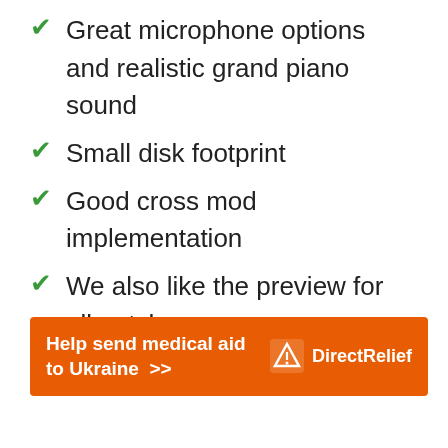Great microphone options and realistic grand piano sound
Small disk footprint
Good cross mod implementation
We also like the preview for all patches
[Figure (infographic): Orange banner advertisement: 'Help send medical aid to Ukraine >>' with Direct Relief logo and name on the right]